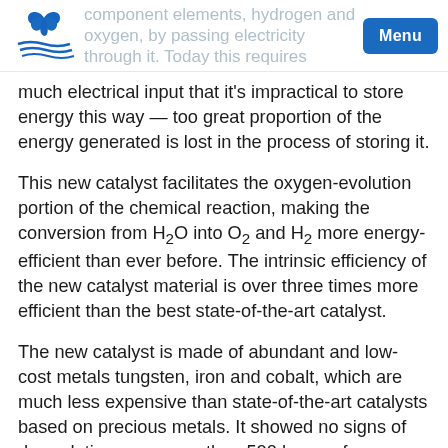component elements, hydrogen and oxygen, by passing electricity through it. Today this requires much electrical input that it's impractical to store energy this way — too great proportion of the energy generated is lost in the process of storing it.
much electrical input that it's impractical to store energy this way — too great proportion of the energy generated is lost in the process of storing it.
This new catalyst facilitates the oxygen-evolution portion of the chemical reaction, making the conversion from H₂O into O₂ and H₂ more energy-efficient than ever before. The intrinsic efficiency of the new catalyst material is over three times more efficient than the best state-of-the-art catalyst.
The new catalyst is made of abundant and low-cost metals tungsten, iron and cobalt, which are much less expensive than state-of-the-art catalysts based on precious metals. It showed no signs of degradation over more than 500 hours of continuous activity, unlike other efficient but short-lived catalysts. Their work